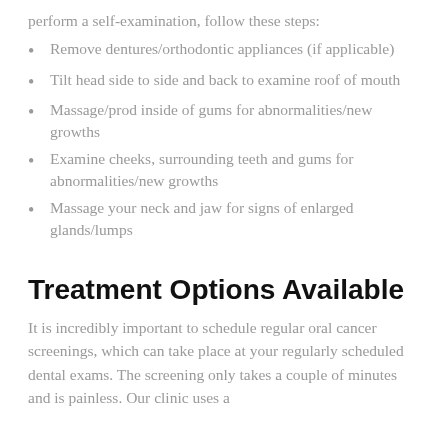perform a self-examination, follow these steps:
Remove dentures/orthodontic appliances (if applicable)
Tilt head side to side and back to examine roof of mouth
Massage/prod inside of gums for abnormalities/new growths
Examine cheeks, surrounding teeth and gums for abnormalities/new growths
Massage your neck and jaw for signs of enlarged glands/lumps
Treatment Options Available
It is incredibly important to schedule regular oral cancer screenings, which can take place at your regularly scheduled dental exams. The screening only takes a couple of minutes and is painless. Our clinic uses a